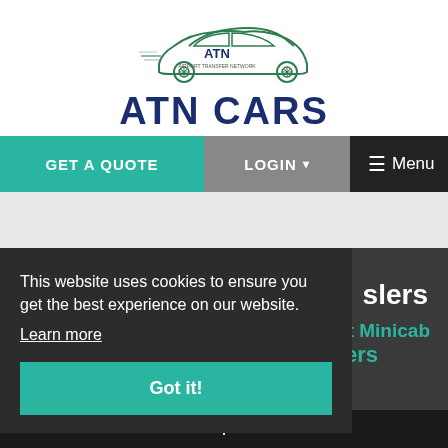[Figure (logo): ATN Cars - Airport Transfer Network logo with car illustration and text]
GET A QUOTE   LOGIN ▾   ≡ Menu
This website uses cookies to ensure you get the best experience on our website. Learn more
Got it!
sfers
Airport, Cruiseport Minicab
Transfers
+